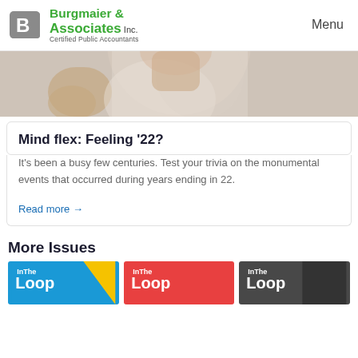Burgmaier & Associates, Inc. — Certified Public Accountants | Menu
[Figure (photo): Cropped photo of a person in a white t-shirt, upper torso and neck visible, light gray background]
Mind flex: Feeling '22?
It's been a busy few centuries. Test your trivia on the monumental events that occurred during years ending in 22.
Read more →
More Issues
[Figure (photo): Three 'In The Loop' newsletter cover thumbnails side by side — first on blue background with yellow triangle, second on red background, third on dark background]